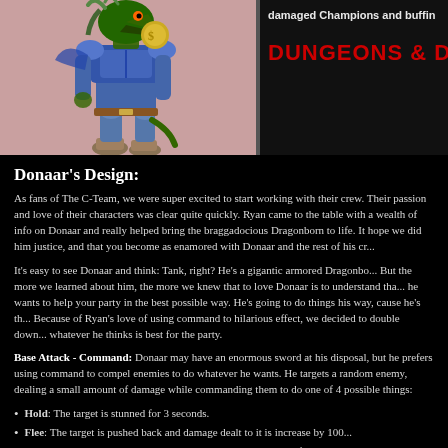[Figure (illustration): Left panel: cartoon illustration of Donaar, a Dragonborn character in blue armor on a pink background. Right panel: dark background with partial text 'damaged Champions and buffin' and Dungeons & Dragons logo in red.]
Donaar's Design:
As fans of The C-Team, we were super excited to start working with their crew. Their passion and love of their characters was clear quite quickly. Ryan came to the table with a wealth of info on Donaar and really helped bring the braggadocious Dragonborn to life. It hope we did him justice, and that you become as enamored with Donaar and the rest of his cr...
It's easy to see Donaar and think: Tank, right? He's a gigantic armored Dragonbo... But the more we learned about him, the more we knew that to love Donaar is to understand tha... he wants to help your party in the best possible way. He's going to do things his way, cause he's th... Because of Ryan's love of using command to hilarious effect, we decided to double down... whatever he thinks is best for the party.
Base Attack - Command: Donaar may have an enormous sword at his disposal, but he prefers using command to compel enemies to do whatever he wants. He targets a random enemy, dealing a small amount of damage while commanding them to do one of 4 possible things:
Hold: The target is stunned for 3 seconds.
Flee: The target is pushed back and damage dealt to it is increase by 100...
Fear: The target now has a 50% chance to miss on any attack for the nex...
Drop Your Stuff: The target drops 50% more gold when it dies.